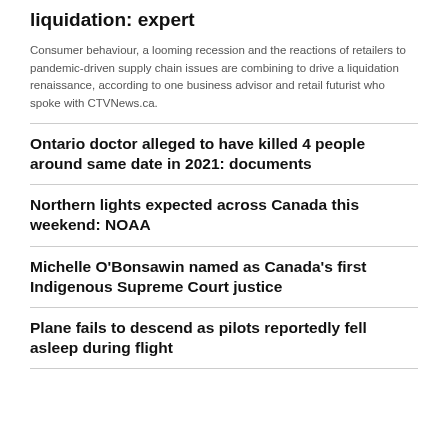liquidation: expert
Consumer behaviour, a looming recession and the reactions of retailers to pandemic-driven supply chain issues are combining to drive a liquidation renaissance, according to one business advisor and retail futurist who spoke with CTVNews.ca.
Ontario doctor alleged to have killed 4 people around same date in 2021: documents
Northern lights expected across Canada this weekend: NOAA
Michelle O'Bonsawin named as Canada's first Indigenous Supreme Court justice
Plane fails to descend as pilots reportedly fell asleep during flight